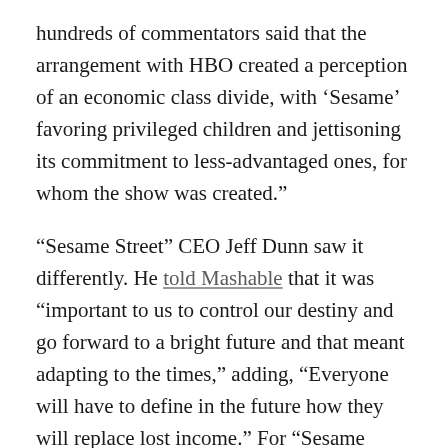hundreds of commentators said that the arrangement with HBO created a perception of an economic class divide, with ‘Sesame’ favoring privileged children and jettisoning its commitment to less-advantaged ones, for whom the show was created.”
“Sesame Street” CEO Jeff Dunn saw it differently. He told Mashable that it was “important to us to control our destiny and go forward to a bright future and that meant adapting to the times,” adding, “Everyone will have to define in the future how they will replace lost income.” For “Sesame Street,” it was thinking of the partnership with HBO as an endowment to ensure that it could continue to reach its intended audience: all children, regardless of socio-economic status.